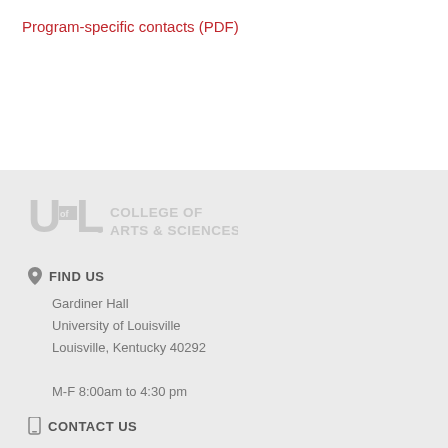Program-specific contacts (PDF)
[Figure (logo): University of Louisville College of Arts & Sciences logo in light gray]
FIND US
Gardiner Hall
University of Louisville
Louisville, Kentucky 40292
M-F 8:00am to 4:30 pm
CONTACT US
tel (502) 852-6490
fax (502) 852-2243
asdean@louisville.edu
Contact Dean's staff